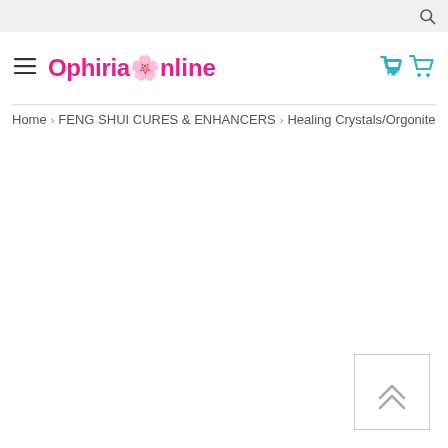Ophiria Online
Home > FENG SHUI CURES & ENHANCERS > Healing Crystals/Orgonite
[Figure (illustration): Back to top button with double upward chevron arrows]